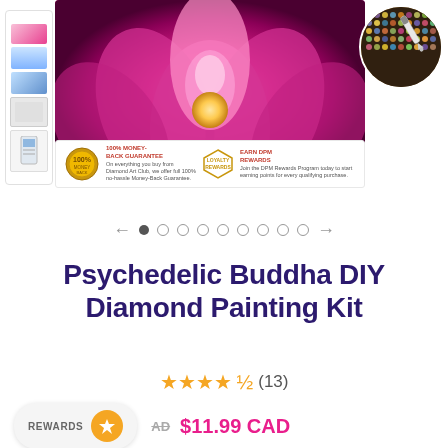[Figure (photo): Product image of Psychedelic Buddha DIY Diamond Painting Kit showing a lotus flower with pink/purple hues, side panel with kit accessories, guarantee badges, and a circular close-up of diamond painting detail]
Psychedelic Buddha DIY Diamond Painting Kit
★★★★½ (13)
REWARDS  AD  $11.99 CAD